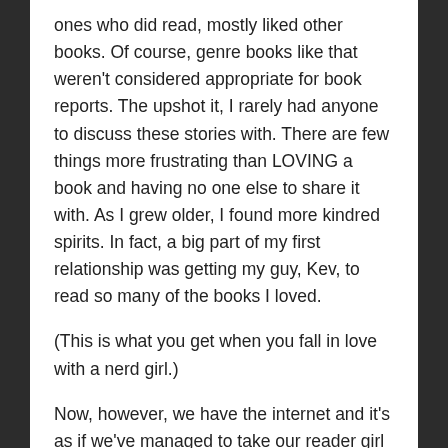ones who did read, mostly liked other books. Of course, genre books like that weren't considered appropriate for book reports. The upshot it, I rarely had anyone to discuss these stories with. There are few things more frustrating than LOVING a book and having no one else to share it with. As I grew older, I found more kindred spirits. In fact, a big part of my first relationship was getting my guy, Kev, to read so many of the books I loved.
(This is what you get when you fall in love with a nerd girl.)
Now, however, we have the internet and it's as if we've managed to take our reader girl selves and connect them across the country and the ocean